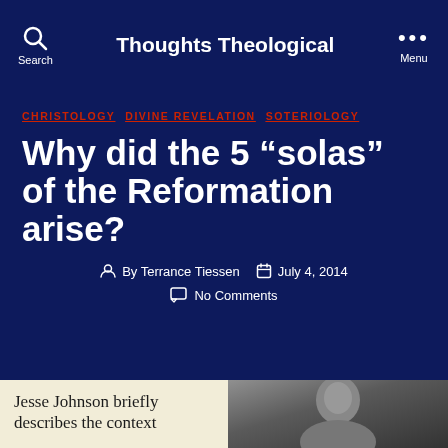Thoughts Theological
CHRISTOLOGY  DIVINE REVELATION  SOTERIOLOGY
Why did the 5 “solas” of the Reformation arise?
By Terrance Tiessen   July 4, 2014   No Comments
Jesse Johnson briefly describes the context